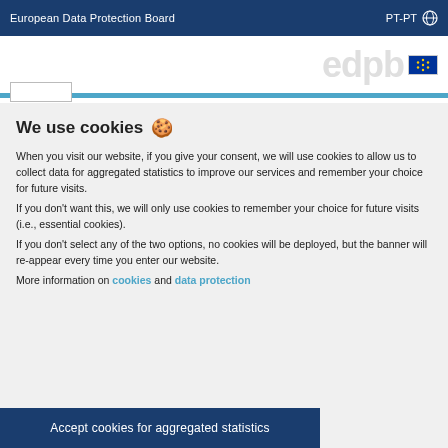European Data Protection Board  PT-PT
[Figure (logo): EDPB logo with EU flag in top right area]
We use cookies 🍪
When you visit our website, if you give your consent, we will use cookies to allow us to collect data for aggregated statistics to improve our services and remember your choice for future visits.
If you don't want this, we will only use cookies to remember your choice for future visits (i.e., essential cookies).
If you don't select any of the two options, no cookies will be deployed, but the banner will re-appear every time you enter our website.
More information on cookies and data protection
Accept cookies for aggregated statistics